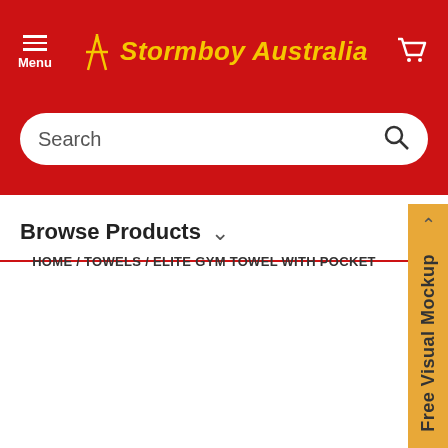Stormboy Australia — Menu | Cart
Search
Browse Products
HOME / TOWELS / ELITE GYM TOWEL WITH POCKET
Free Visual Mockup